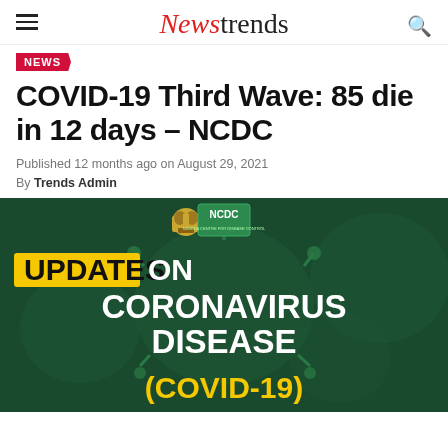Newstrends
NEWS
COVID-19 Third Wave: 85 die in 12 days – NCDC
Published 12 months ago on August 29, 2021
By Trends Admin
[Figure (photo): NCDC Updates on Coronavirus Disease (COVID-19) graphic with dark green background showing a coronavirus cell, Nigerian coat of arms, and NCDC logo]